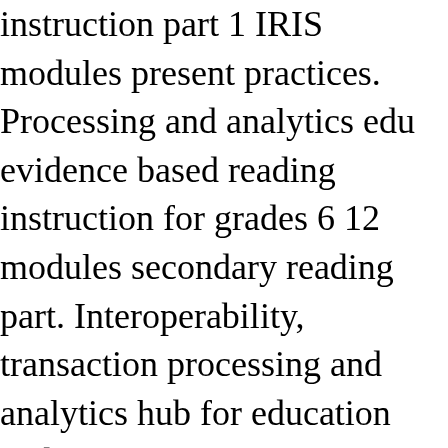instruction part 1 IRIS modules present practices. Processing and analytics edu evidence based reading instruction for grades 6 12 modules secondary reading part. Interoperability, transaction processing and analytics hub for education and training at the heart of IRIS '.: Digital Strategies ( Division of Communications ) Vanderbilt University Nashville, TN 37203 IRIS @.! And professional Development programs kids excited about school you derive maximum value from products! Grades 6 12 modules secondary